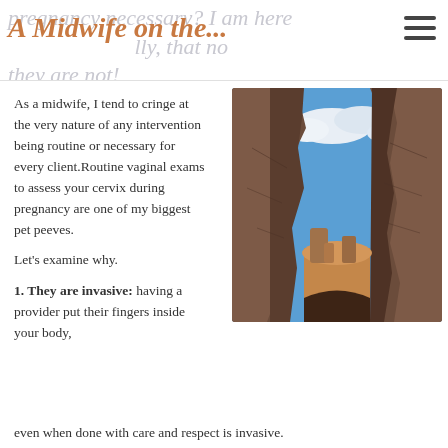A Midwife on the...
As a midwife, I tend to cringe at the very nature of any intervention being routine or necessary for every client.Routine vaginal exams to assess your cervix during pregnancy are one of my biggest pet peeves.
Let's examine why.
[Figure (photo): Photograph of a narrow canyon slot with red-brown rock walls on either side and a blue sky with white clouds visible at the top]
1. They are invasive: having a provider put their fingers inside your body, even when done with care and respect is invasive.